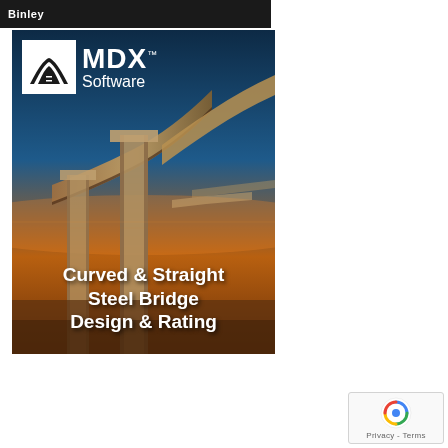Binley
[Figure (advertisement): MDX Software advertisement featuring a curved highway bridge overpass with golden hour lighting. White MDX Software logo with bridge icon in top left. Bold white text reads 'Curved & Straight Steel Bridge Design & Rating']
[Figure (other): reCAPTCHA privacy badge with blue recycle-style arrow icon, Privacy and Terms text]